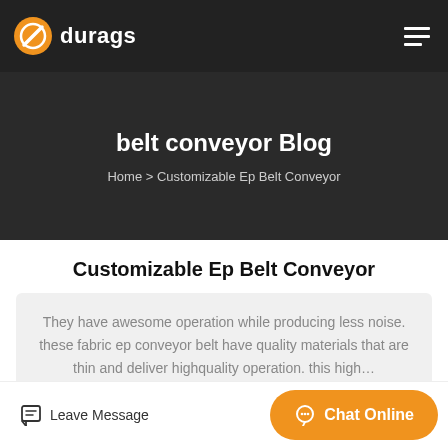[Figure (logo): durags brand logo with orange circle/slash icon and white text on dark nav bar]
belt conveyor Blog
Home > Customizable Ep Belt Conveyor
Customizable Ep Belt Conveyor
They have awesome operation while producing less noise. these fabric ep conveyor belt have quality materials that are thin and deliver highquality operation. this high…
Leave Message
Chat Online